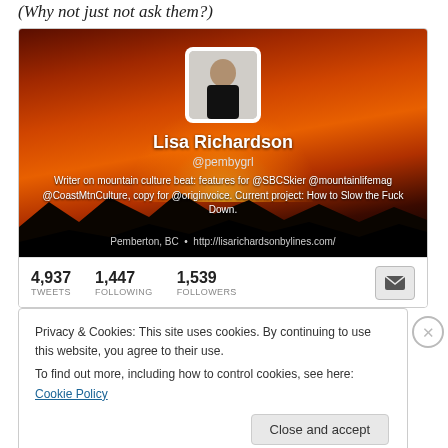(Why not just not ask them?)
[Figure (screenshot): Twitter profile screenshot for Lisa Richardson (@pembygrl). Header shows a sunset/mountain background. Profile photo shows a person in black. Stats: 4,937 Tweets, 1,447 Following, 1,539 Followers. Bio: Writer on mountain culture beat: features for @SBCSkier @mountainlifemag @CoastMtnCulture, copy for @originvoice. Current project: How to Slow the Fuck Down. Location: Pemberton, BC. Website: http://lisarichardsonbylines.com/]
Privacy & Cookies: This site uses cookies. By continuing to use this website, you agree to their use.
To find out more, including how to control cookies, see here: Cookie Policy
Close and accept